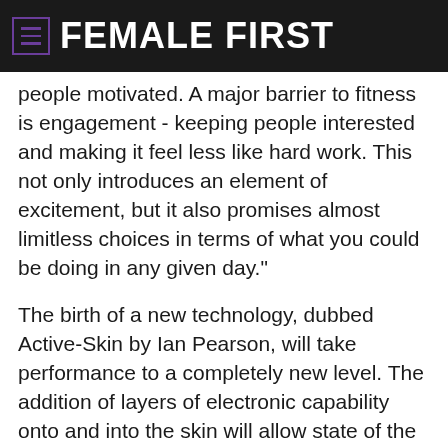FEMALE FIRST
people motivated. A major barrier to fitness is engagement - keeping people interested and making it feel less like hard work. This not only introduces an element of excitement, but it also promises almost limitless choices in terms of what you could be doing in any given day."
The birth of a new technology, dubbed Active-Skin by Ian Pearson, will take performance to a completely new level. The addition of layers of electronic capability onto and into the skin will allow state of the art monitoring, linking the nervous system to external IT.
Active-Skin will activate equipment and upload personal profiles to machinery so it can see what was done the day before and what needs to be done to improve performance. Heart-rates, blood pressure and